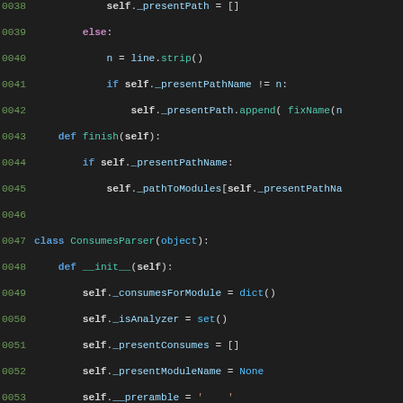[Figure (screenshot): Source code screenshot showing Python class definitions for ConsumesParser with syntax highlighting on dark background. Line numbers 0038-0067 are visible.]